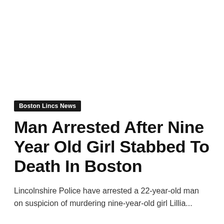Boston Lincs News
Man Arrested After Nine Year Old Girl Stabbed To Death In Boston
Lincolnshire Police have arrested a 22-year-old man on suspicion of murdering nine-year-old girl Lillia...